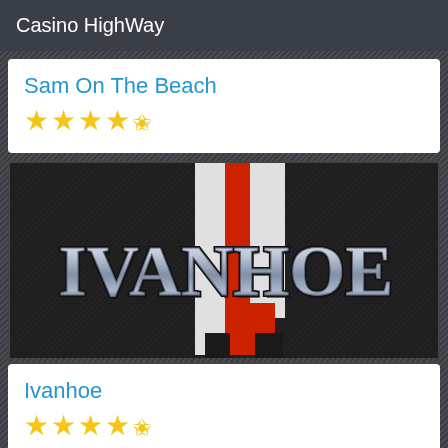Casino HighWay
Sam On The Beach
★★★★½
[Figure (illustration): Ivanhoe slot game logo — metallic gothic lettering spelling IVANHOE over a red and white vertical stripe shield on a dark textured background]
Ivanhoe
★★★★½